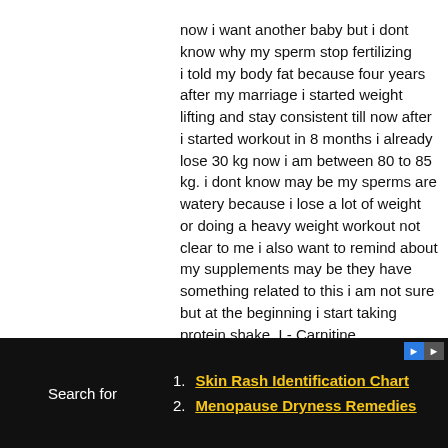now i want another baby but i dont know why my sperm stop fertilizing i told my body fat because four years after my marriage i started weight lifting and stay consistent till now after i started workout in 8 months i already lose 30 kg now i am between 80 to 85 kg. i dont know may be my sperms are watery because i lose a lot of weight or doing a heavy weight workout not clear to me i also want to remind about my supplements may be they have something related to this i am not sure but at the beginning i start taking protein shake, L- Carnitine, multivitamins, bcaa, creatine and glutamine. i have also lost the erection that used to have before i was discharge 3 to 4 times during intercourse but now after first discharge my erection is dead i really hate that feeling but i dont what to do i dont want to share this to anyone but i find this blog i think may be i can get some advice or any supplement that can help me in this situation i hope you understand and can
Search for
1. Skin Rash Identification Chart
2. Menopause Dryness Remedies